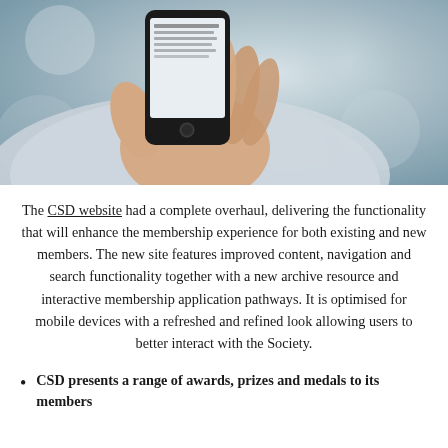[Figure (photo): A hand holding a smartphone with text visible on the screen, blurred urban background]
The CSD website had a complete overhaul, delivering the functionality that will enhance the membership experience for both existing and new members. The new site features improved content, navigation and search functionality together with a new archive resource and interactive membership application pathways. It is optimised for mobile devices with a refreshed and refined look allowing users to better interact with the Society.
CSD presents a range of awards, prizes and medals to its members